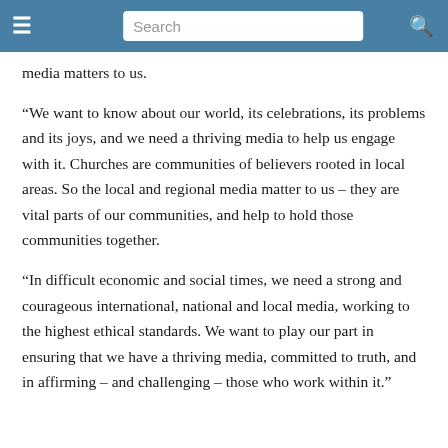Search
media matters to us.
“We want to know about our world, its celebrations, its problems and its joys, and we need a thriving media to help us engage with it. Churches are communities of believers rooted in local areas. So the local and regional media matter to us – they are vital parts of our communities, and help to hold those communities together.
“In difficult economic and social times, we need a strong and courageous international, national and local media, working to the highest ethical standards. We want to play our part in ensuring that we have a thriving media, committed to truth, and in affirming – and challenging – those who work within it.”